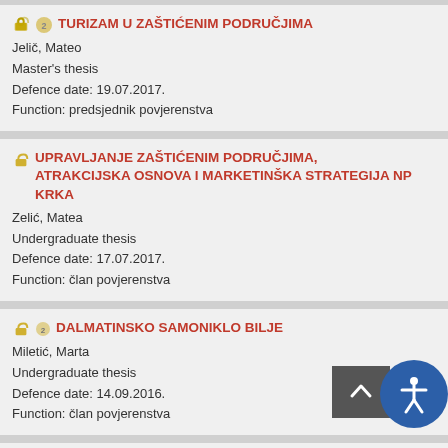TURIZAM U ZAŠTIĆENIM PODRUČJIMA
Jelič, Mateo
Master's thesis
Defence date: 19.07.2017.
Function: predsjednik povjerenstva
UPRAVLJANJE ZAŠTIĆENIM PODRUČJIMA, ATRAKCIJSKA OSNOVA I MARKETINŠKA STRATEGIJA NP KRKA
Zelić, Matea
Undergraduate thesis
Defence date: 17.07.2017.
Function: član povjerenstva
DALMATINSKO SAMONIKLO BILJE
Miletić, Marta
Undergraduate thesis
Defence date: 14.09.2016.
Function: član povjerenstva
KOMPARACIJA GOSPODARENJA OTPADOM U ZEMLJAMA EU I HRVATSKA PRAKSA